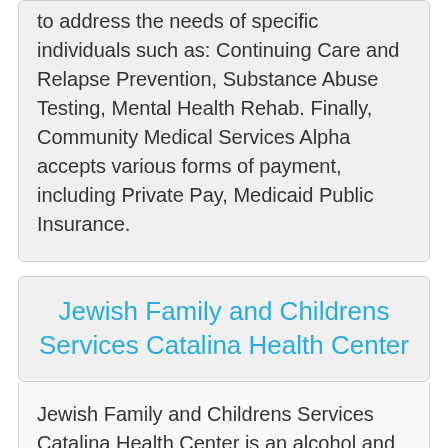to address the needs of specific individuals such as: Continuing Care and Relapse Prevention, Substance Abuse Testing, Mental Health Rehab. Finally, Community Medical Services Alpha accepts various forms of payment, including Private Pay, Medicaid Public Insurance.
Jewish Family and Childrens Services Catalina Health Center
Jewish Family and Childrens Services Catalina Health Center is an alcohol and drug treatment facility based at 3001 North 33rd Avenue in Phoenix, Az...